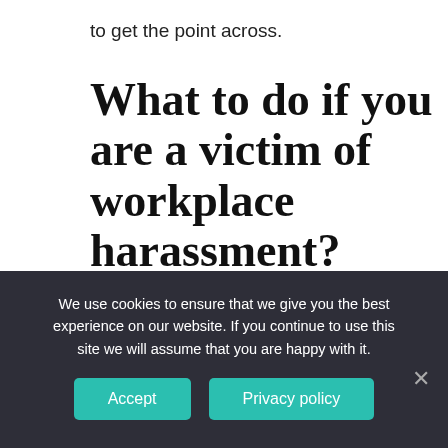to get the point across.
What to do if you are a victim of workplace harassment?
If you are a victim of harassment at work because of a co-worker, supervisor, or anyone else in the workplace, you need to report
We use cookies to ensure that we give you the best experience on our website. If you continue to use this site we will assume that you are happy with it.